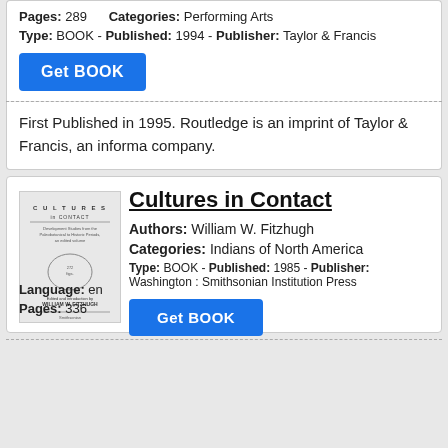Pages: 289
Categories: Performing Arts
Type: BOOK - Published: 1994 - Publisher: Taylor & Francis
Get BOOK
First Published in 1995. Routledge is an imprint of Taylor & Francis, an informa company.
[Figure (illustration): Book cover thumbnail for Cultures in Contact]
Cultures in Contact
Authors: William W. Fitzhugh
Categories: Indians of North America
Type: BOOK - Published: 1985 - Publisher: Washington : Smithsonian Institution Press
Language: en
Pages: 336
Get BOOK